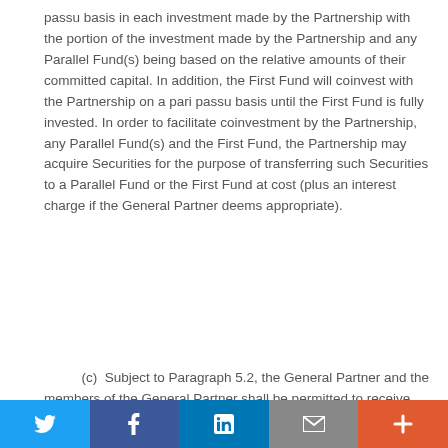passu basis in each investment made by the Partnership with the portion of the investment made by the Partnership and any Parallel Fund(s) being based on the relative amounts of their committed capital. In addition, the First Fund will coinvest with the Partnership on a pari passu basis until the First Fund is fully invested. In order to facilitate coinvestment by the Partnership, any Parallel Fund(s) and the First Fund, the Partnership may acquire Securities for the purpose of transferring such Securities to a Parallel Fund or the First Fund at cost (plus an interest charge if the General Partner deems appropriate).
(c)  Subject to Paragraph 5.2, the General Partner and the members of the General Partner shall be permitted to receive fees (director's